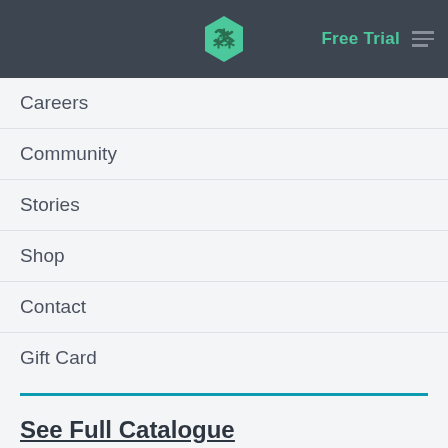Free Trial
Careers
Community
Stories
Shop
Contact
Gift Card
See Full Catalogue
Techdegree
Front End Web Development
Full Stack JavaScript
Python Development